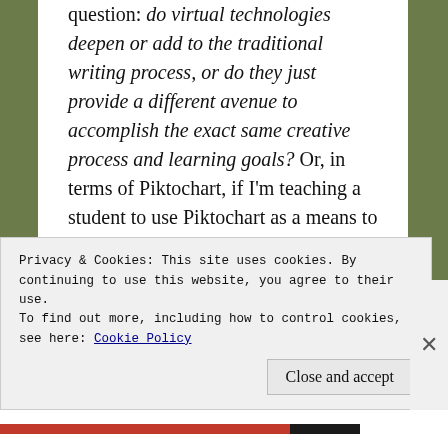question: do virtual technologies deepen or add to the traditional writing process, or do they just provide a different avenue to accomplish the exact same creative process and learning goals?  Or, in terms of Piktochart, if I'm teaching a student to use Piktochart as a means to map his protagonist's backstory, what is Piktochart bringing to the table that a piece of paper and some colored pencils do not?  Furthermore, what does a virtual technology have to bring to the table to make the additional time it takes to teach a student a new platform worthwhile?
Privacy & Cookies: This site uses cookies. By continuing to use this website, you agree to their use. To find out more, including how to control cookies, see here: Cookie Policy